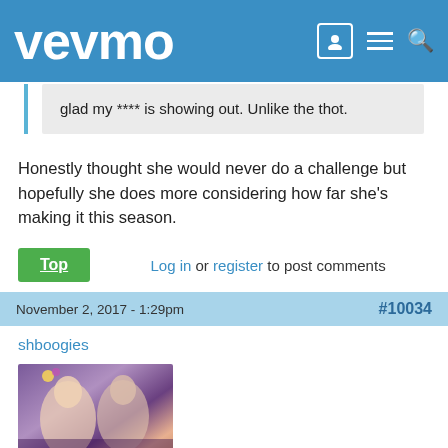vevmo
glad my **** is showing out. Unlike the thot.
Honestly thought she would never do a challenge but hopefully she does more considering how far she's making it this season.
Top   Log in or register to post comments
November 2, 2017 - 1:29pm   #10034
shboogies
[Figure (photo): User profile photo showing two people at what appears to be a party or event]